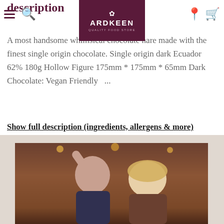description
Ardkeen Quality Food Store — navigation header with logo
A most handsome whimsical chocolate hare made with the finest single origin chocolate. Single origin dark Ecuador 62% 180g Hollow Figure 175mm * 175mm * 65mm Dark Chocolate: Vegan Friendly   ...
Show full description (ingredients, allergens & more)
[Figure (photo): Photo of two people at an indoor event, one raising their arm, warm lighting in background]